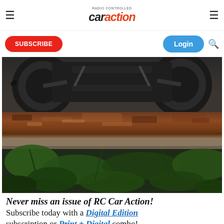RC Car Action - car action logo with hamburger menus, Subscribe button, Login button, search icon
[Figure (photo): An RC monster truck crawling over a rusty metal beam/rail with concrete and green leaves visible below. The undercarriage and large black knobby tires are visible from below.]
Never miss an issue of RC Car Action! Subscribe today with a Digital Edition subscription or Print + Digital combo!